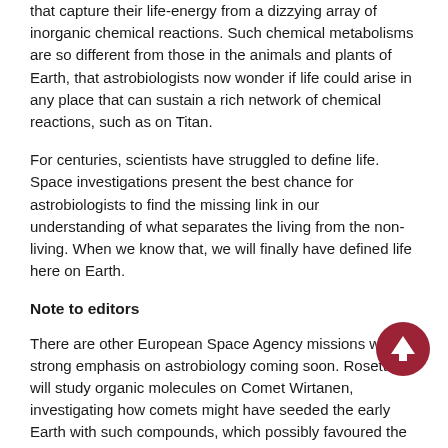that capture their life-energy from a dizzying array of inorganic chemical reactions. Such chemical metabolisms are so different from those in the animals and plants of Earth, that astrobiologists now wonder if life could arise in any place that can sustain a rich network of chemical reactions, such as on Titan.
For centuries, scientists have struggled to define life. Space investigations present the best chance for astrobiologists to find the missing link in our understanding of what separates the living from the non-living. When we know that, we will finally have defined life here on Earth.
Note to editors
There are other European Space Agency missions with strong emphasis on astrobiology coming soon. Rosetta will study organic molecules on Comet Wirtanen, investigating how comets might have seeded the early Earth with such compounds, which possibly favoured the origin of life. Mars Express and its lander, Beagle 2, will scour Mars for environments likely to harbour past or present life.
Huygens
Huygens will be the first spaceprobe to land on a world in the outer Solar System. In early 2005, it will land on the surface of Titan, Saturn's largest